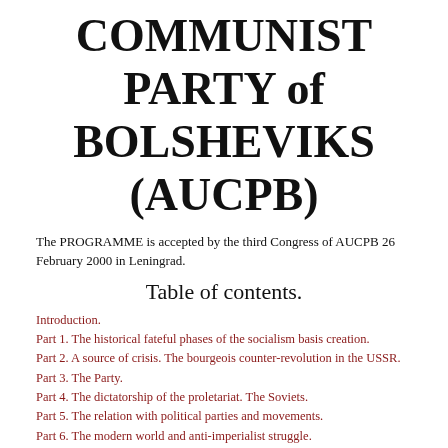COMMUNIST PARTY of BOLSHEVIKS (AUCPB)
The PROGRAMME is accepted by the third Congress of AUCPB 26 February 2000 in Leningrad.
Table of contents.
Introduction.
Part 1. The historical fateful phases of the socialism basis creation.
Part 2. A source of crisis. The bourgeois counter-revolution in the USSR.
Part 3. The Party.
Part 4. The dictatorship of the proletariat. The Soviets.
Part 5. The relation with political parties and movements.
Part 6. The modern world and anti-imperialist struggle.
Part 7. The purposes and tasks of the AUCPB.
The conclusion.
The notes.